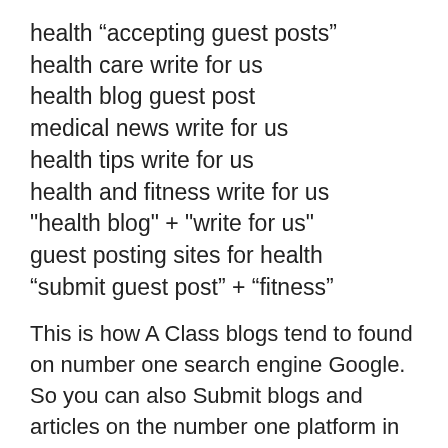health “accepting guest posts”
health care write for us
health blog guest post
medical news write for us
health tips write for us
health and fitness write for us
"health blog" + "write for us"
guest posting sites for health
“submit guest post” + “fitness”
This is how A Class blogs tend to found on number one search engine Google. So you can also Submit blogs and articles on the number one platform in all the categories.
For Write For Us Finance or Tech Submit Guest Post or Write For us Fashion visit the